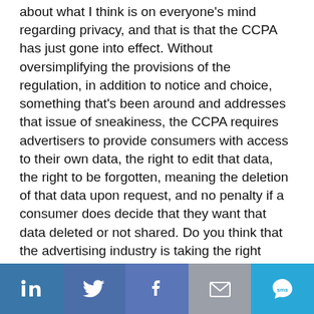about what I think is on everyone's mind regarding privacy, and that is that the CCPA has just gone into effect. Without oversimplifying the provisions of the regulation, in addition to notice and choice, something that's been around and addresses that issue of sneakiness, the CCPA requires advertisers to provide consumers with access to their own data, the right to edit that data, the right to be forgotten, meaning the deletion of that data upon request, and no penalty if a consumer does decide that they want that data deleted or not shared. Do you think that the advertising industry is taking the right steps to keep consumer data secure?
Jill Harrigan: I mean, in the past you just had to notify people that you're using it, but really now the
[Figure (infographic): Social share bar with five buttons: LinkedIn (blue), Twitter (dark blue), Facebook (medium blue), Email (grey), SMS (light blue)]